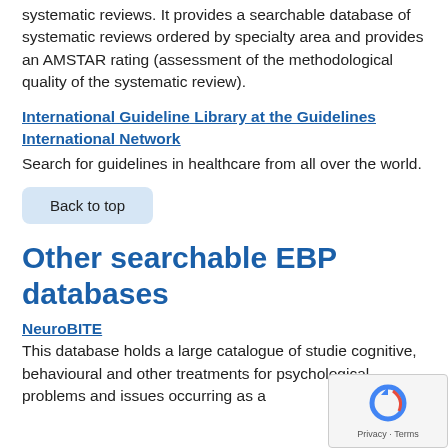systematic reviews. It provides a searchable database of systematic reviews ordered by specialty area and provides an AMSTAR rating (assessment of the methodological quality of the systematic review).
International Guideline Library at the Guidelines International Network
Search for guidelines in healthcare from all over the world.
Back to top
Other searchable EBP databases
NeuroBITE
This database holds a large catalogue of studies cognitive, behavioural and other treatments for psychological problems and issues occurring as a